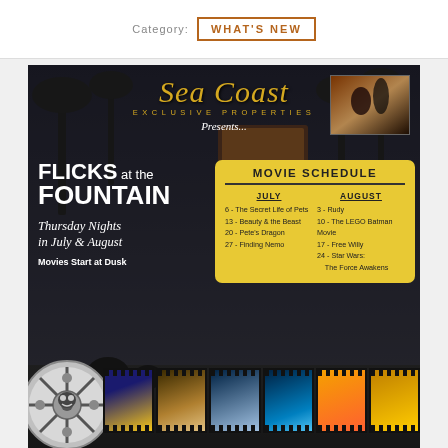Category: WHAT'S NEW
[Figure (infographic): Sea Coast Exclusive Properties presents Flicks at the Fountain event flyer. Thursday Nights in July & August, Movies Start at Dusk. Movie Schedule ticket lists July dates: 6 - The Secret Life of Pets, 13 - Beauty & the Beast, 20 - Pete's Dragon, 27 - Finding Nemo. August dates: 3 - Rudy, 10 - The LEGO Batman Movie, 17 - Free Willy, 24 - Star Wars: The Force Awakens. Decorated with film reel and filmstrip at bottom.]